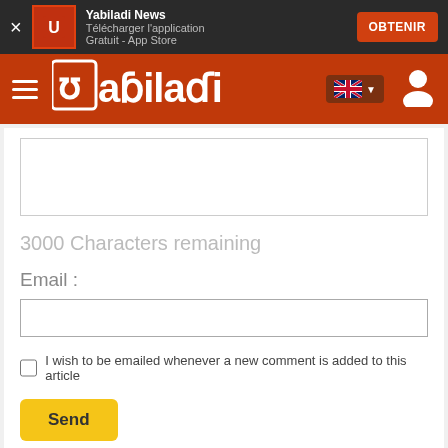[Figure (screenshot): App download banner with Yabiladi icon, text 'Yabiladi News / Télécharger l'application / Gratuit - App Store', and OBTENIR button]
[Figure (screenshot): Yabiladi orange navigation bar with hamburger menu, logo, UK flag language selector, and user icon]
3000 Characters remaining
Email :
I wish to be emailed whenever a new comment is added to this article
Send